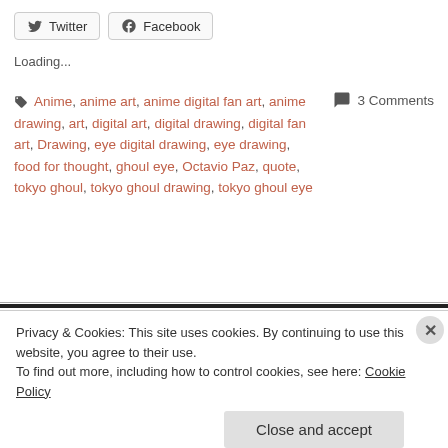[Figure (other): Twitter and Facebook share buttons]
Loading...
Anime, anime art, anime digital fan art, anime drawing, art, digital art, digital drawing, digital fan art, Drawing, eye digital drawing, eye drawing, food for thought, ghoul eye, Octavio Paz, quote, tokyo ghoul, tokyo ghoul drawing, tokyo ghoul eye
3 Comments
Privacy & Cookies: This site uses cookies. By continuing to use this website, you agree to their use. To find out more, including how to control cookies, see here: Cookie Policy
Close and accept